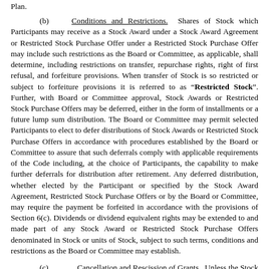Plan.
(b) Conditions and Restrictions. Shares of Stock which Participants may receive as a Stock Award under a Stock Award Agreement or Restricted Stock Purchase Offer under a Restricted Stock Purchase Offer may include such restrictions as the Board or Committee, as applicable, shall determine, including restrictions on transfer, repurchase rights, right of first refusal, and forfeiture provisions. When transfer of Stock is so restricted or subject to forfeiture provisions it is referred to as "Restricted Stock". Further, with Board or Committee approval, Stock Awards or Restricted Stock Purchase Offers may be deferred, either in the form of installments or a future lump sum distribution. The Board or Committee may permit selected Participants to elect to defer distributions of Stock Awards or Restricted Stock Purchase Offers in accordance with procedures established by the Board or Committee to assure that such deferrals comply with applicable requirements of the Code including, at the choice of Participants, the capability to make further deferrals for distribution after retirement. Any deferred distribution, whether elected by the Participant or specified by the Stock Award Agreement, Restricted Stock Purchase Offers or by the Board or Committee, may require the payment be forfeited in accordance with the provisions of Section 6(c). Dividends or dividend equivalent rights may be extended to and made part of any Stock Award or Restricted Stock Purchase Offers denominated in Stock or units of Stock, subject to such terms, conditions and restrictions as the Board or Committee may establish.
(c) Cancellation and Rescission of Grants. Unless the Stock Award Agreement or Restricted Stock Purchase Offer specifies otherwise, the Board or Committee, as applicable, may cancel any unexpired, unpaid, or deferred Grants at any time if the Participant is not in compliance with all other applicable provisions of the Stock Award Agreement or Restricted Stock Purchase Offer,